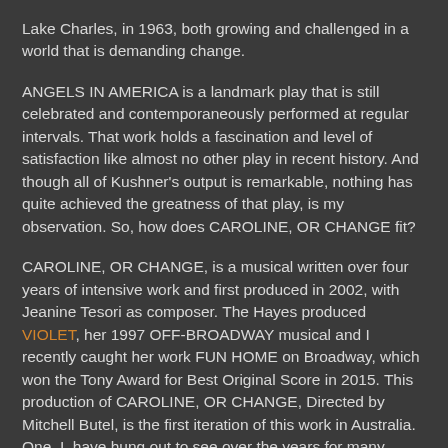Lake Charles, in 1963, both growing and challenged in a world that is demanding change.
ANGELS IN AMERICA is a landmark play that is still celebrated and contemporaneously performed at regular intervals. That work holds a fascination and level of satisfaction like almost no other play in recent history. And though all of Kushner's output is remarkable, nothing has quite achieved the greatness of that play, is my observation. So, how does CAROLINE, OR CHANGE fit?
CAROLINE, OR CHANGE, is a musical written over four years of intensive work and first produced in 2002, with Jeanine Tesori as composer. The Hayes produced VIOLET, her 1997 OFF-BROADWAY musical and I recently caught her work FUN HOME on Broadway, which won the Tony Award for Best Original Score in 2015. This production of CAROLINE, OR CHANGE, Directed by Mitchell Butel, is the first iteration of this work in Australia. One, I, have hung out to see over the years for many reasons, the least of which was to make contextual valuations of the quality of the writing of this work. ANGELS is so intensely, brilliantly